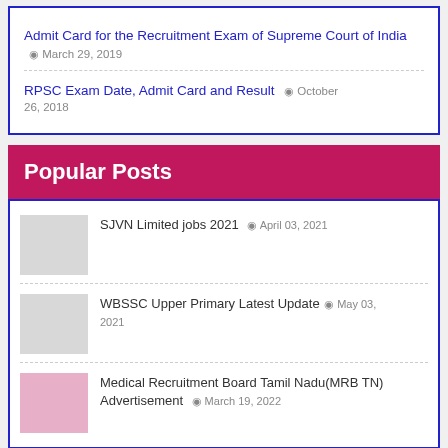Admit Card for the Recruitment Exam of Supreme Court of India  March 29, 2019
RPSC Exam Date, Admit Card and Result  October 26, 2018
Popular Posts
SJVN Limited jobs 2021  April 03, 2021
WBSSC Upper Primary Latest Update  May 03, 2021
Medical Recruitment Board Tamil Nadu(MRB TN) Advertisement  March 19, 2022